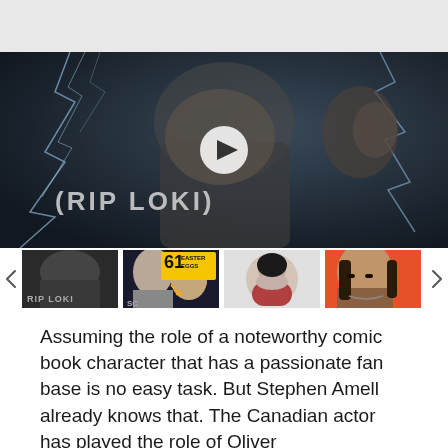[Figure (photo): Main video thumbnail showing a person with 'RIP LOKI' text carved on their back, dark blue lightning background. Play button overlay in center.]
[Figure (photo): Thumbnail strip with 4 images: (1) black and white image of same figure with RIP LOKI text, (2) collage with '61 Easter Eggs' yellow text and SC logo, (3) circular portrait of young woman in red jacket, (4) partial image of man with long dark hair.]
Assuming the role of a noteworthy comic book character that has a passionate fan base is no easy task. But Stephen Amell already knows that. The Canadian actor has played the role of Oliver Queen across five seasons on The CW's massively popular Arrow. His series has also formed the base of